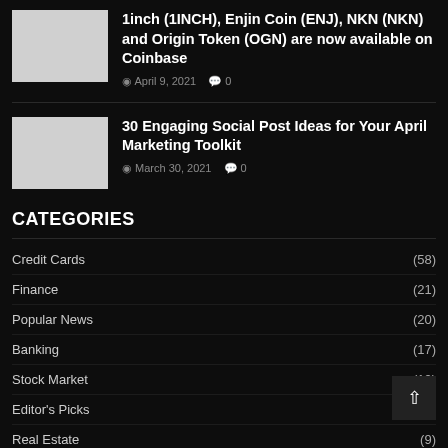[Figure (photo): Thumbnail image placeholder (light gray rectangle) for article about 1inch, ENJ, NKN, OGN on Coinbase]
1inch (1INCH), Enjin Coin (ENJ), NKN (NKN) and Origin Token (OGN) are now available on Coinbase
April 9, 2021  0
[Figure (photo): Thumbnail image placeholder (light gray rectangle) for article about 30 Engaging Social Post Ideas for April Marketing Toolkit]
30 Engaging Social Post Ideas for Your April Marketing Toolkit
March 30, 2021  0
CATEGORIES
Credit Cards (58)
Finance (21)
Popular News (20)
Banking (17)
Stock Market (19)
Editor's Picks
Real Estate (9)